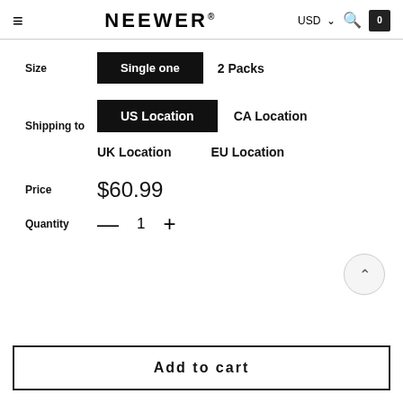NEEWER® USD
Size
Single one   2 Packs
Shipping to
US Location   CA Location   UK Location   EU Location
Price   $60.99
Quantity   —   1   +
Add to cart